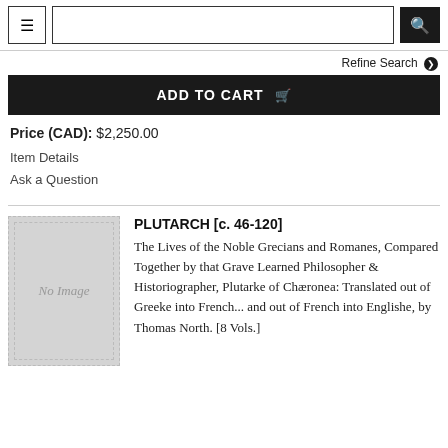[Figure (screenshot): Website header with hamburger menu button, search input field, and search button]
Refine Search ❯
ADD TO CART 🛒
Price (CAD): $2,250.00
Item Details
Ask a Question
[Figure (photo): No Image placeholder thumbnail for book]
PLUTARCH [c. 46-120]
The Lives of the Noble Grecians and Romanes, Compared Together by that Grave Learned Philosopher & Historiographer, Plutarke of Chæronea: Translated out of Greeke into French... and out of French into Englishe, by Thomas North. [8 Vols.]